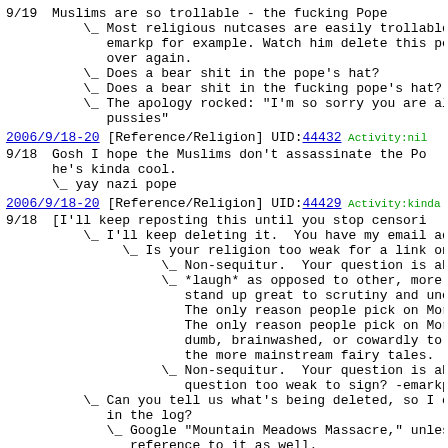9/19    Muslims are so trollable - the fucking Pope
        \_ Most religious nutcases are easily trollable.
           emarkp for example. Watch him delete this pos
           over again.
        \_ Does a bear shit in the pope's hat?
        \_ Does a bear shit in the fucking pope's hat?
        \_ The apology rocked: "I'm so sorry you are all
           pussies"
2006/9/18-20 [Reference/Religion] UID:44432 Activity:nil
9/18    Gosh I hope the Muslims don't assassinate the Po
        he's kinda cool.
        \_ yay nazi pope
2006/9/18-20 [Reference/Religion] UID:44429 Activity:kinda low 66%li
9/18    [I'll keep reposting this until you stop censori
        \_ I'll keep deleting it.  You have my email add
             \_ Is your religion too weak for a link on th
                  \_ Non-sequitur.  Your question is about h
                  \_ *laugh* as opposed to other, more mains
                     stand up great to scrutiny and uncensor
                     The only reason people pick on Mormons
                     The only reason people pick on Mormons
                     dumb, brainwashed, or cowardly to point
                     the more mainstream fairy tales.
                  \_ Non-sequitur.  Your question is about h
                     question too weak to sign? -emarkp
        \_ Can you tell us what's being deleted, so I ca
           in the log?
           \_ Google "Mountain Meadows Massacre," unless
              reference to it as well.